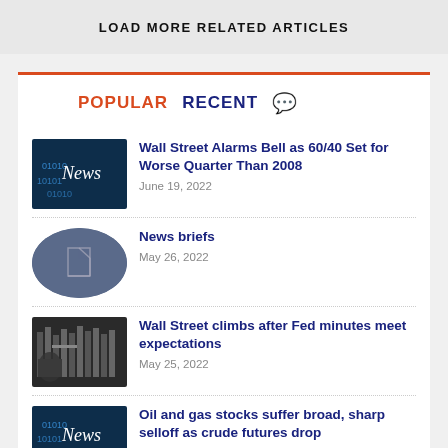LOAD MORE RELATED ARTICLES
POPULAR   RECENT
Wall Street Alarms Bell as 60/40 Set for Worse Quarter Than 2008
June 19, 2022
News briefs
May 26, 2022
Wall Street climbs after Fed minutes meet expectations
May 25, 2022
Oil and gas stocks suffer broad, sharp selloff as crude futures drop